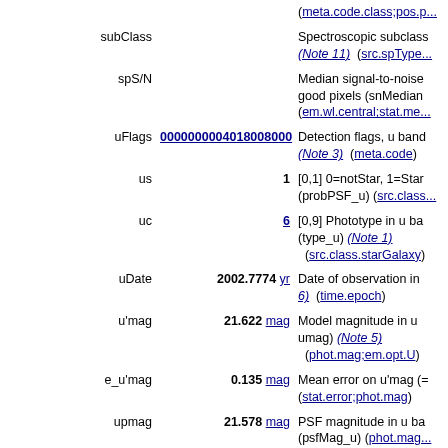| Name | Value | Description |
| --- | --- | --- |
|  |  | (meta.code.class;pos.p... |
| subClass |  | Spectroscopic subclass (Note 11) (src.spType... |
| spS/N |  | Median signal-to-noise good pixels (snMedian) (em.wl.central;stat.me... |
| uFlags | 0000000004018008000 | Detection flags, u band (Note 3) (meta.code) |
| us | 1 | [0,1] 0=notStar, 1=Star (probPSF_u) (src.clas... |
| uc | 6 | [0,9] Phototype in u ba (type_u) (Note 1) (src.class.starGalaxy) |
| uDate | 2002.7774 yr | Date of observation in 6) (time.epoch) |
| u'mag | 21.622 mag | Model magnitude in u umag) (Note 5) (phot.mag;em.opt.U) |
| e_u'mag | 0.135 mag | Mean error on u'mag (stat.error;phot.mag) |
| upmag | 21.578 mag | PSF magnitude in u ba (psfMag_u) (phot.mag... |
| e_upmag | 0.119 mag | Mean error on upmag |